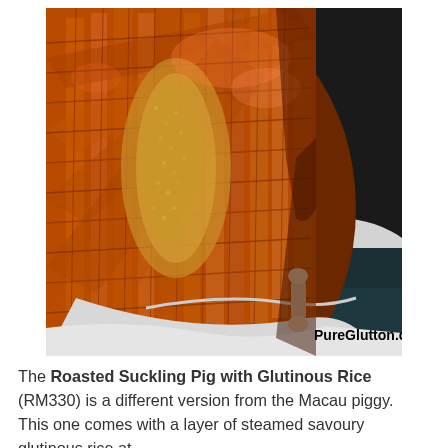[Figure (photo): Close-up photo of Roasted Suckling Pig with Glutinous Rice on a white plate, showing crispy golden-brown skin scored in a crosshatch pattern with yellow glutinous rice visible underneath. Watermark 'PureGlutton.com' in bold black text at bottom right of the image.]
The Roasted Suckling Pig with Glutinous Rice (RM330) is a different version from the Macau piggy.  This one comes with a layer of steamed savoury glutinous rice at